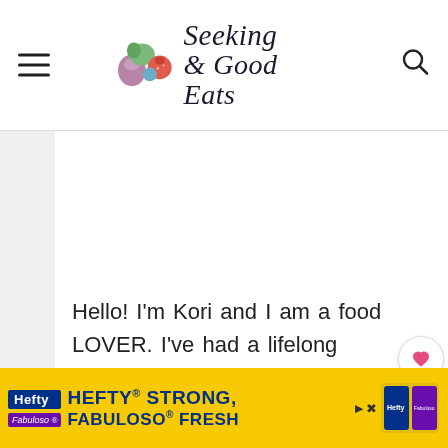Seeking Good Eats [logo with vegetables]
[Figure (logo): Seeking Good Eats logo with watercolor vegetables and cursive/script text]
Hello! I'm Kori and I am a food LOVER. I've had a lifelong passion for cooking and eating (of course)! At some point that catches up with you, right? Older and wiser, I now watch what I eat more closely
[Figure (infographic): Social sharing buttons on right side: heart icon with count 1, and share icon]
[Figure (infographic): Hefty STRONG, Fabuloso FRESH advertisement banner at the bottom in yellow]